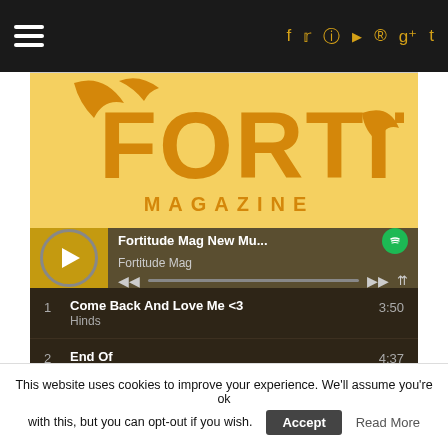Navigation bar with hamburger menu and social icons (f, t, camera, YouTube, Pinterest, g+, t)
[Figure (logo): Fortitude Magazine logo — golden/amber colored stylized text FORTITUDE with wing graphic on yellow background]
[Figure (screenshot): Spotify-style music player showing 'Fortitude Mag New Mu...' playlist by Fortitude Mag with play button, progress bar, and controls]
1  Come Back And Love Me <3  3:50  Hinds
2  End Of  4:37  Biffy Clyro
3  Binge Love You  4:01  Alice Jemima
This website uses cookies to improve your experience. We'll assume you're ok with this, but you can opt-out if you wish.  Accept  Read More